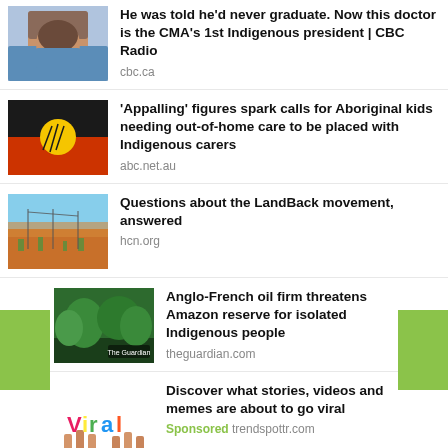[Figure (photo): Portrait photo of a man in blue shirt]
He was told he'd never graduate. Now this doctor is the CMA's 1st Indigenous president | CBC Radio
cbc.ca
[Figure (photo): Aboriginal flag: black top, red bottom, yellow circle center]
'Appalling' figures spark calls for Aboriginal kids needing out-of-home care to be placed with Indigenous carers
abc.net.au
[Figure (photo): Landscape photo of arid outback with power lines]
Questions about the LandBack movement, answered
hcn.org
[Figure (photo): Aerial photo of Amazon rainforest with Guardian logo]
Anglo-French oil firm threatens Amazon reserve for isolated Indigenous people
theguardian.com
[Figure (photo): Viral logo with colorful letters held by hands]
Discover what stories, videos and memes are about to go viral
Sponsored trendspottr.com
Powered by trendspottr